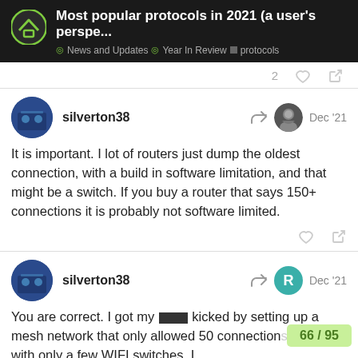Most popular protocols in 2021 (a user's perspe... | News and Updates | Year In Review | protocols
2
silverton38  Dec '21
It is important. I lot of routers just dump the oldest connection, with a build in software limitation, and that might be a switch. If you buy a router that says 150+ connections it is probably not software limited.
silverton38  Dec '21
You are correct. I got my ■■■ kicked by setting up a mesh network that only allowed 50 connection problems with only a few WIFI switches. I
66 / 95